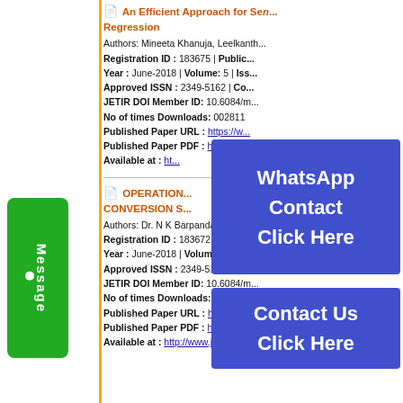[Figure (other): Green Message button on left sidebar]
An Efficient Approach for Sentiment Analysis using Logistic Regression
Authors: Mineeta Khanuja, Leelkanthi...
Registration ID : 183675 | Public...
Year : June-2018 | Volume: 5 | Iss...
Approved ISSN : 2349-5162 | Co...
JETIR DOI Member ID: 10.6084/m...
No of times Downloads: 002811
Published Paper URL : https://w...
Published Paper PDF : https://w...
Available at : ht...
[Figure (other): WhatsApp Contact Click Here blue overlay]
[Figure (other): Contact Us Click Here blue overlay]
OPERATION... CONVERSION S...
Authors: Dr. N K Barpanda, Dr. A Pan...
Registration ID : 183672 | Public...
Year : June-2018 | Volume: 5 | Iss...
Approved ISSN : 2349-5162 | Co...
JETIR DOI Member ID: 10.6084/m...
No of times Downloads: 002819
Published Paper URL : https://ww...
Published Paper PDF : https://ww...
Available at : http://www.jetir.org/p...